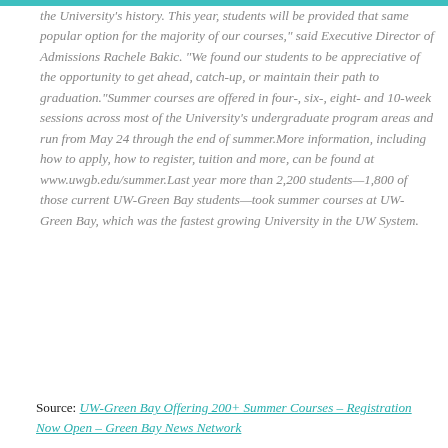the University's history. This year, students will be provided that same popular option for the majority of our courses," said Executive Director of Admissions Rachele Bakic. "We found our students to be appreciative of the opportunity to get ahead, catch-up, or maintain their path to graduation."Summer courses are offered in four-, six-, eight- and 10-week sessions across most of the University's undergraduate program areas and run from May 24 through the end of summer.More information, including how to apply, how to register, tuition and more, can be found at www.uwgb.edu/summer.Last year more than 2,200 students—1,800 of those current UW-Green Bay students—took summer courses at UW-Green Bay, which was the fastest growing University in the UW System.
Source: UW-Green Bay Offering 200+ Summer Courses – Registration Now Open – Green Bay News Network